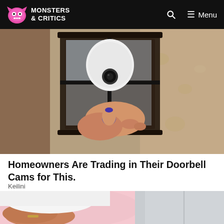Monsters & Critics — Menu
[Figure (photo): Hand pressing a doorbell camera device mounted on a wall lantern bracket]
Homeowners Are Trading in Their Doorbell Cams for This.
Keilini
[Figure (photo): Person wearing white top and grey jeans, pink background]